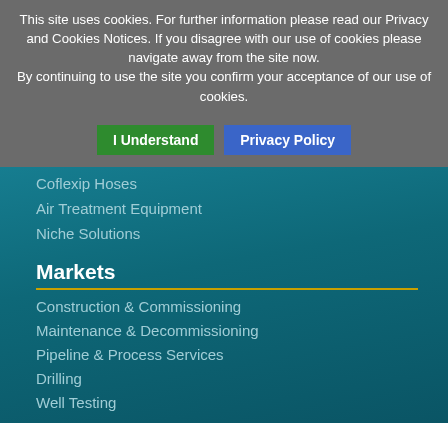This site uses cookies. For further information please read our Privacy and Cookies Notices. If you disagree with our use of cookies please navigate away from the site now. By continuing to use the site you confirm your acceptance of our use of cookies.
I Understand
Privacy Policy
Coflexip Hoses
Air Treatment Equipment
Niche Solutions
Markets
Construction & Commissioning
Maintenance & Decommissioning
Pipeline & Process Services
Drilling
Well Testing
Related Links